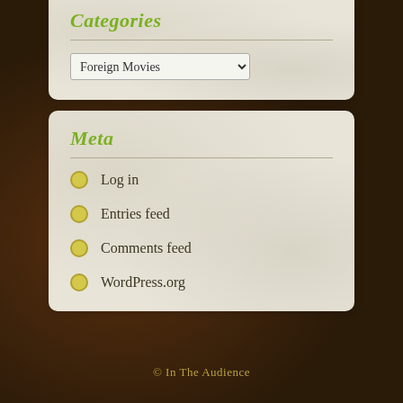Categories
Foreign Movies
Meta
Log in
Entries feed
Comments feed
WordPress.org
© In The Audience